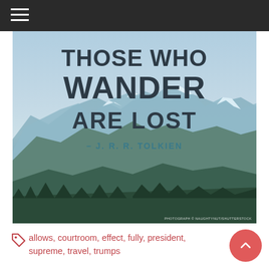[Figure (illustration): Motivational quote image over a mountain landscape background. Text reads: THOSE WHO WANDER ARE LOST – J. R. R. TOLKIEN. Photograph © NAUGHTYNUT/SHUTTERSTOCK.]
allows, courtroom, effect, fully, president, supreme, travel, trumps